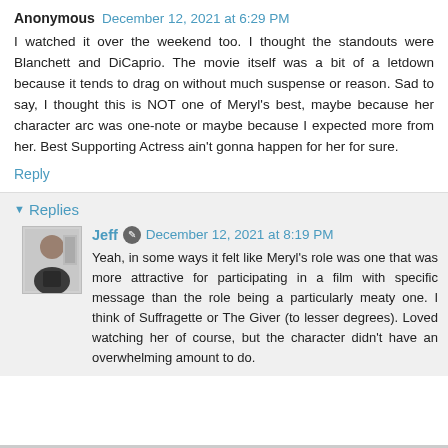Anonymous  December 12, 2021 at 6:29 PM
I watched it over the weekend too. I thought the standouts were Blanchett and DiCaprio. The movie itself was a bit of a letdown because it tends to drag on without much suspense or reason. Sad to say, I thought this is NOT one of Meryl's best, maybe because her character arc was one-note or maybe because I expected more from her. Best Supporting Actress ain't gonna happen for her for sure.
Reply
Replies
Jeff  December 12, 2021 at 8:19 PM
Yeah, in some ways it felt like Meryl's role was one that was more attractive for participating in a film with specific message than the role being a particularly meaty one. I think of Suffragette or The Giver (to lesser degrees). Loved watching her of course, but the character didn't have an overwhelming amount to do.